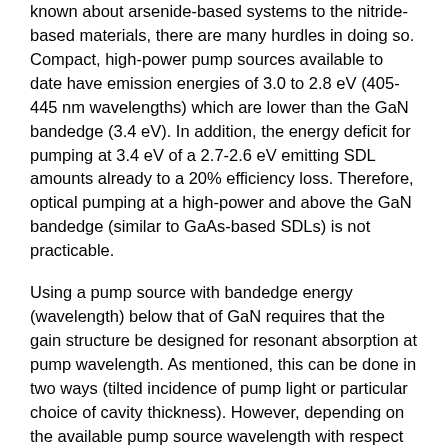known about arsenide-based systems to the nitride-based materials, there are many hurdles in doing so. Compact, high-power pump sources available to date have emission energies of 3.0 to 2.8 eV (405-445 nm wavelengths) which are lower than the GaN bandedge (3.4 eV). In addition, the energy deficit for pumping at 3.4 eV of a 2.7-2.6 eV emitting SDL amounts already to a 20% efficiency loss. Therefore, optical pumping at a high-power and above the GaN bandedge (similar to GaAs-based SDLs) is not practicable.
Using a pump source with bandedge energy (wavelength) below that of GaN requires that the gain structure be designed for resonant absorption at pump wavelength. As mentioned, this can be done in two ways (tilted incidence of pump light or particular choice of cavity thickness). However, depending on the available pump source wavelength with respect to the lasing wavelength of the SDL, one of either gain structure designs is favored for reasons of either simplicity of pump source-gain structure alignment or positioning of QWs within the gain structure.
GaN is the dominant matrix material in visible, nitride-based light emitters, and cannot be replaced easily by lower bandgap nitrides of sufficient thickness due to